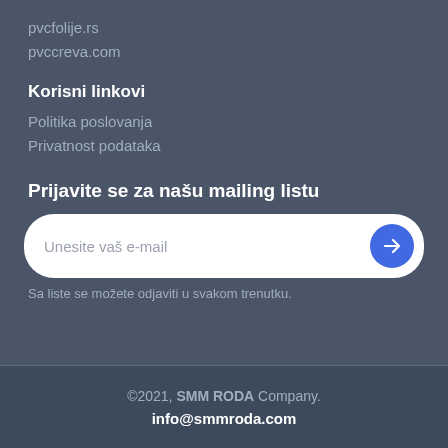pvcfolije.rs
pvccreva.com
Korisni linkovi
Politika poslovanja
Privatnost podataka
Prijavite se za našu mailing listu
Unesite vaš e-mail
Sa liste se možete odjaviti u svakom trenutku.
©2021, SMM RODA Company.
info@smmroda.com